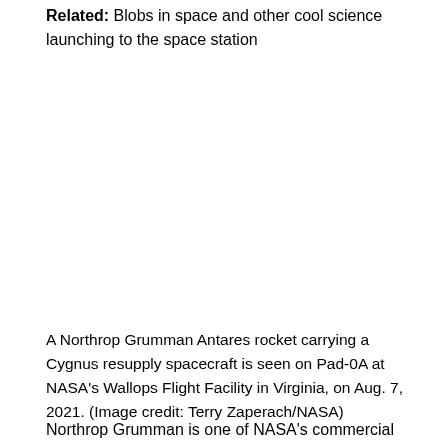Related: Blobs in space and other cool science launching to the space station
[Figure (photo): A Northrop Grumman Antares rocket carrying a Cygnus resupply spacecraft on Pad-0A at NASA's Wallops Flight Facility in Virginia, on Aug. 7, 2021. Image area appears blank/white in this crop.]
A Northrop Grumman Antares rocket carrying a Cygnus resupply spacecraft is seen on Pad-0A at NASA's Wallops Flight Facility in Virginia, on Aug. 7, 2021. (Image credit: Terry Zaperach/NASA)
Northrop Grumman is one of NASA's commercial partners